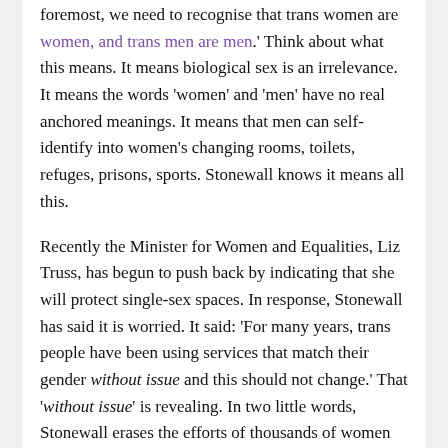foremost, we need to recognise that trans women are women, and trans men are men.' Think about what this means. It means biological sex is an irrelevance. It means the words 'women' and 'men' have no real anchored meanings. It means that men can self-identify into women's changing rooms, toilets, refuges, prisons, sports. Stonewall knows it means all this.
Recently the Minister for Women and Equalities, Liz Truss, has begun to push back by indicating that she will protect single-sex spaces. In response, Stonewall has said it is worried. It said: 'For many years, trans people have been using services that match their gender without issue and this should not change.' That 'without issue' is revealing. In two little words, Stonewall erases the efforts of thousands of women who have been battling to protect single-sex services. It pretends whole organisations don't exist, such as Fair Play for Women, WomensPlaceUK, SafeSchoolsAlliance and others.
All this might be a storm in a teacup but for the fact that Stonewall has changed what it has campaigned for over time.